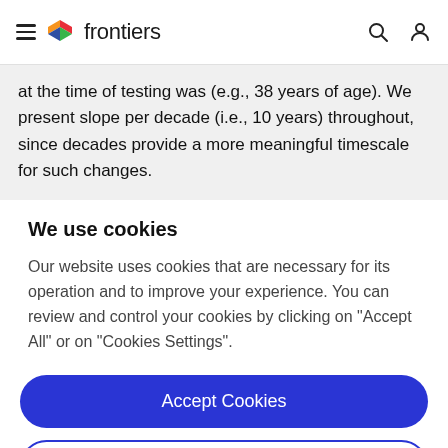frontiers
at the time of testing was (e.g., 38 years of age). We present slope per decade (i.e., 10 years) throughout, since decades provide a more meaningful timescale for such changes.
We use cookies
Our website uses cookies that are necessary for its operation and to improve your experience. You can review and control your cookies by clicking on "Accept All" or on "Cookies Settings".
Accept Cookies
Cookies Settings